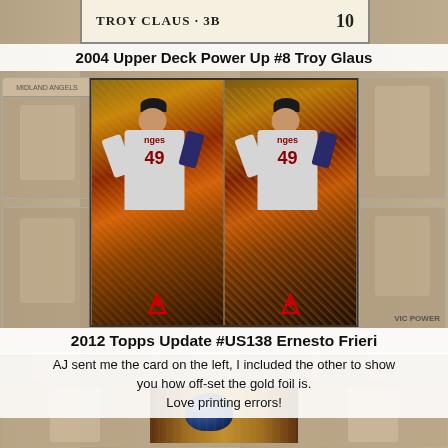[Figure (photo): Partial baseball card showing TROY CLAUS 3B and number 10 at top]
2004 Upper Deck Power Up #8 Troy Glaus
[Figure (photo): Two 2012 Topps Update #US138 Ernesto Frieri baseball cards side by side showing player #49 in Angels uniform with gold foil background, one card showing off-set gold foil printing error]
2012 Topps Update #US138 Ernesto Frieri
AJ sent me the card on the left, I included the other to show you how off-set the gold foil is. Love printing errors!
[Figure (photo): Partial background collage of vintage baseball cards at bottom of page]